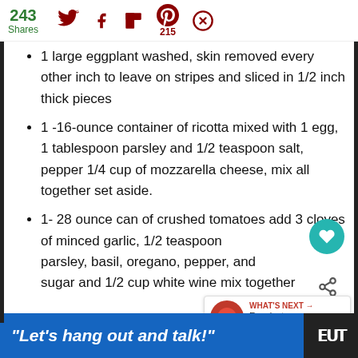243 Shares | social share icons (Twitter, Facebook, Flipboard, Pinterest 215, other)
1 large eggplant washed, skin removed every other inch to leave on stripes and sliced in 1/2 inch thick pieces
1 -16-ounce container of ricotta mixed with 1 egg, 1 tablespoon parsley and 1/2 teaspoon salt, pepper 1/4 cup of mozzarella cheese, mix all together set aside.
1- 28 ounce can of crushed tomatoes add 3 cloves of minced garlic, 1/2 teaspoon parsley, basil, oregano, pepper, and sugar and 1/2 cup white wine mix together
"Let's hang out and talk!"